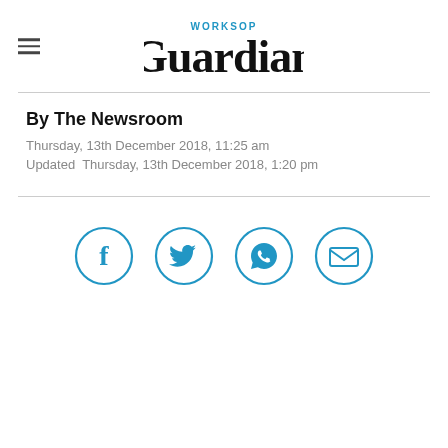[Figure (logo): Worksop Guardian newspaper logo in bold black serif font with 'WORKSOP' in small blue text above 'Guardian']
By The Newsroom
Thursday, 13th December 2018, 11:25 am
Updated  Thursday, 13th December 2018, 1:20 pm
[Figure (infographic): Four circular social share buttons in blue: Facebook (f), Twitter (bird), WhatsApp (phone in speech bubble), Email (envelope)]